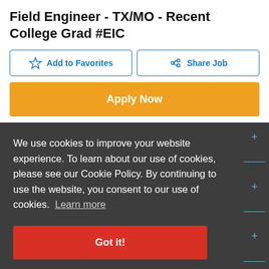Field Engineer - TX/MO - Recent College Grad #EIC
Add to Favorites
Share Job
Apply Now
We use cookies to improve your website experience. To learn about our use of cookies, please see our Cookie Policy. By continuing to use the website, you consent to our use of cookies. Learn more
Got it!
Company